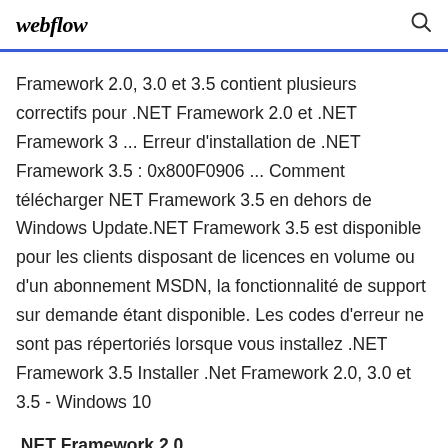webflow
Framework 2.0, 3.0 et 3.5 contient plusieurs correctifs pour .NET Framework 2.0 et .NET Framework 3 ... Erreur d'installation de .NET Framework 3.5 : 0x800F0906 ... Comment télécharger NET Framework 3.5 en dehors de Windows Update.NET Framework 3.5 est disponible pour les clients disposant de licences en volume ou d'un abonnement MSDN, la fonctionnalité de support sur demande étant disponible. Les codes d'erreur ne sont pas répertoriés lorsque vous installez .NET Framework 3.5 Installer .Net Framework 2.0, 3.0 et 3.5 - Windows 10
.NET Framework 2.0